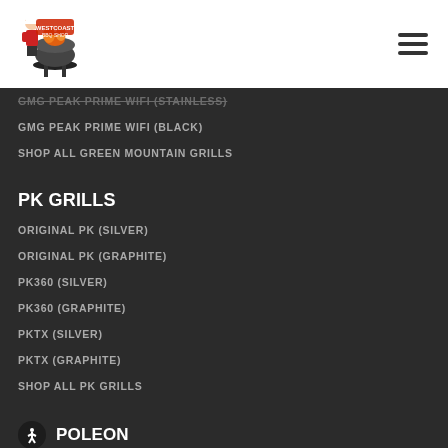West Coast BBQ Shop
GMG PEAK PRIME WIFI (STAINLESS)
GMG PEAK PRIME WIFI (BLACK)
SHOP ALL GREEN MOUNTAIN GRILLS
PK GRILLS
ORIGINAL PK (SILVER)
ORIGINAL PK (GRAPHITE)
PK360 (SILVER)
PK360 (GRAPHITE)
PKTX (SILVER)
PKTX (GRAPHITE)
SHOP ALL PK GRILLS
POLEON